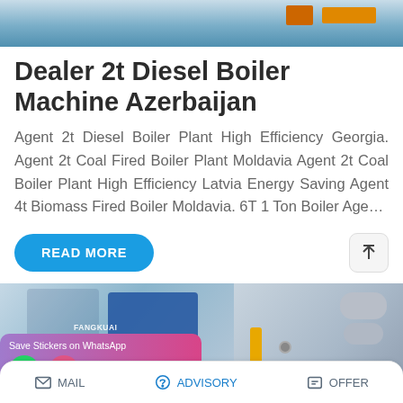[Figure (photo): Industrial boiler or machinery equipment photo, blue/teal tones with yellow/orange elements at top of page]
Dealer 2t Diesel Boiler Machine Azerbaijan
Agent 2t Diesel Boiler Plant High Efficiency Georgia. Agent 2t Coal Fired Boiler Plant Moldavia Agent 2t Coal Boiler Plant High Efficiency Latvia Energy Saving Agent 4t Biomass Fired Boiler Moldavia. 6T 1 Ton Boiler Age…
READ MORE
[Figure (photo): Two product images: left shows industrial boiler equipment with FANGKUAI branding and a WhatsApp sticker save overlay (purple-pink gradient), right shows industrial pipe/duct equipment with yellow pipe]
MAIL  ADVISORY  OFFER